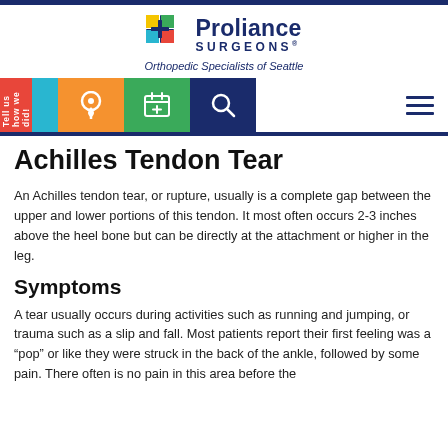[Figure (logo): Proliance Surgeons logo with colorful cross icon and tagline 'Orthopedic Specialists of Seattle']
Achilles Tendon Tear
An Achilles tendon tear, or rupture, usually is a complete gap between the upper and lower portions of this tendon. It most often occurs 2-3 inches above the heel bone but can be directly at the attachment or higher in the leg.
Symptoms
A tear usually occurs during activities such as running and jumping, or trauma such as a slip and fall. Most patients report their first feeling was a “pop” or like they were struck in the back of the ankle, followed by some pain. There often is no pain in this area before the